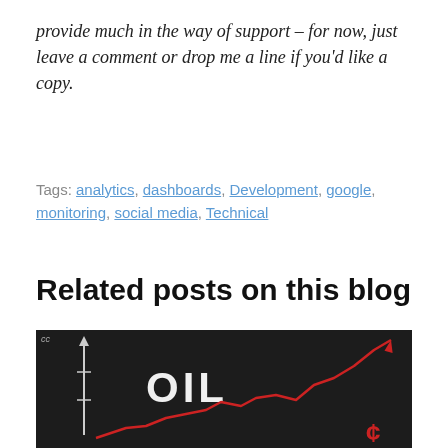provide much in the way of support – for now, just leave a comment or drop me a line if you'd like a copy.
Tags: analytics, dashboards, Development, google, monitoring, social media, Technical
Related posts on this blog
[Figure (photo): Dark chalkboard background with the word OIL written in white chalk, a vertical axis arrow on the left, and a red line chart trending upward sharply to the right, with a dollar/cent sign in the bottom right corner. A 'cc' Creative Commons label appears in the top left.]